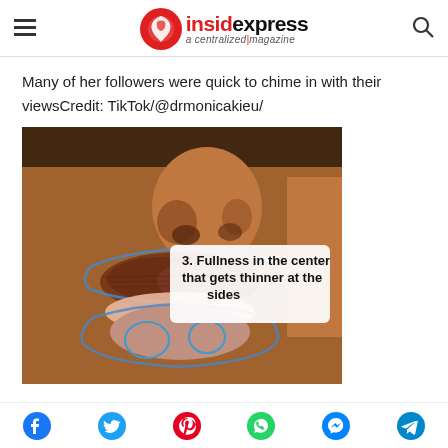insidexpress a centralized magazine
Many of her followers were quick to chime in with their viewsCredit: TikTok/@drmonicakieu/
[Figure (photo): Close-up photo of lips with blue outline annotations and text overlay reading: 3. Fullness in the center that gets thinner at the sides]
Social share icons: Facebook, Twitter, Pinterest, WhatsApp, Messenger, Telegram